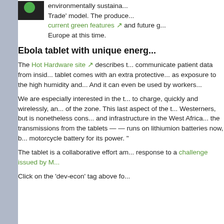environmentally sustaina... Trade' model. The produce... current green features and future g... Europe at this time.
Ebola tablet with unique energ
The Hot Hardware site describes t... communicate patient data from insid... tablet comes with an extra protective... as exposure to the high humidity and... And it can even be used by workers...
We are especially interested in the t... to charge, quickly and wirelessly, an... of the zone. This last aspect of the t... Westerners, but is nonetheless cons... and infrastructure in the West Africa... the transmissions from the tablets — — runs on lithiumion batteries now, b... motorcycle battery for its power. "
The tablet is a collaborative effort am... response to a challenge issued by M...
Click on the 'dev-econ' tag above fo...